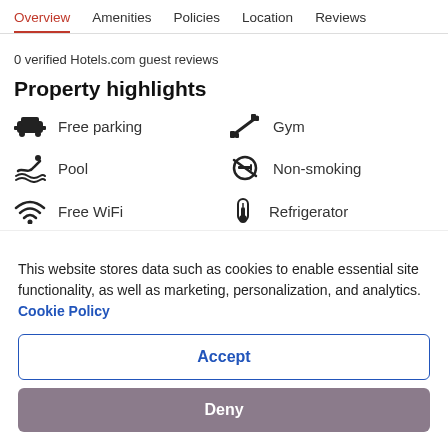Overview  Amenities  Policies  Location  Reviews
0 verified Hotels.com guest reviews
Property highlights
Free parking
Gym
Pool
Non-smoking
Free WiFi
Refrigerator
[Figure (map): Partial map strip showing location]
This website stores data such as cookies to enable essential site functionality, as well as marketing, personalization, and analytics. Cookie Policy
Accept
Deny